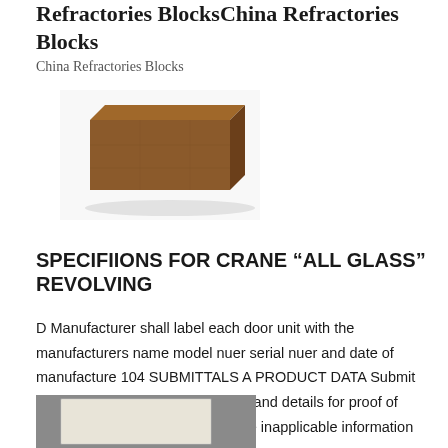Refractories BlocksChina Refractories Blocks
China Refractories Blocks
[Figure (photo): A refractory brick block, brown/reddish-brown in color, rectangular shape, photographed on a white background with slight shadow underneath.]
SPECIFIIONS FOR CRANE “ALL GLASS” REVOLVING
D Manufacturer shall label each door unit with the manufacturers name model nuer serial nuer and date of manufacture 104 SUBMITTALS A PRODUCT DATA Submit manufacturers standard literature and details for proof of compliance with specifiions Delete inapplicable information Include
[Figure (photo): Bottom portion of a product image, showing a white/cream colored sheet or panel on a grey background, partially visible.]